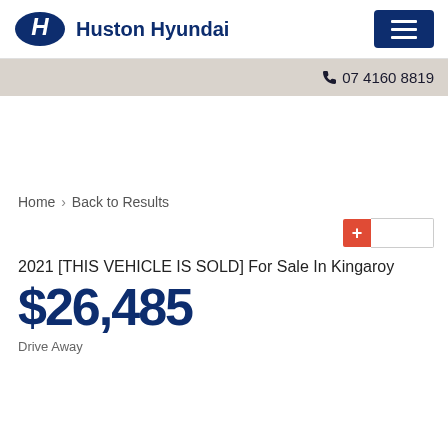Huston Hyundai
07 4160 8819
Home > Back to Results
2021 [THIS VEHICLE IS SOLD] For Sale In Kingaroy
$26,485
Drive Away